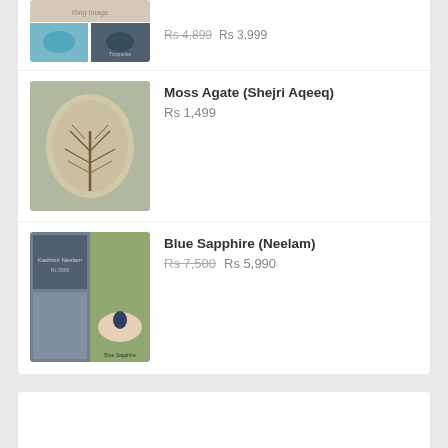[Figure (photo): Partial product listing row at top showing turquoise ring images with crossed-out price Rs 4,899 and Rs 3,999]
[Figure (photo): Moss Agate (Shejri Aqeeq) product image - oval brown stone]
Moss Agate (Shejri Aqeeq)
Rs 1,499
[Figure (photo): Blue Sapphire (Neelam) product images - gemstone with certificate]
Blue Sapphire (Neelam)
Rs 7,500 Rs 5,990
Email
BAZZARPRO@GMAIL.COM
Phone